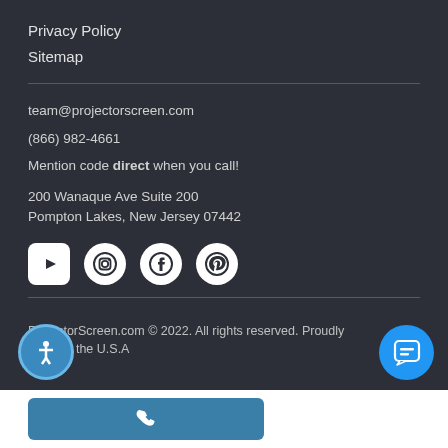Privacy Policy
Sitemap
team@projectorscreen.com
(866) 982-4661
Mention code direct when you call!
200 Wanaque Ave Suite 200
Pompton Lakes, New Jersey 07442
[Figure (infographic): Social media icons: YouTube, Instagram, Facebook, Pinterest]
ProjectorScreen.com © 2022. All rights reserved. Proudly made in the U.S.A